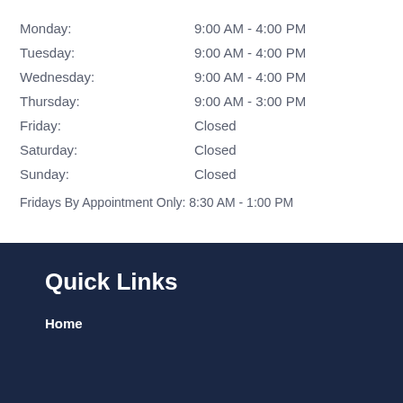| Day | Hours |
| --- | --- |
| Monday: | 9:00 AM - 4:00 PM |
| Tuesday: | 9:00 AM - 4:00 PM |
| Wednesday: | 9:00 AM - 4:00 PM |
| Thursday: | 9:00 AM - 3:00 PM |
| Friday: | Closed |
| Saturday: | Closed |
| Sunday: | Closed |
Fridays By Appointment Only: 8:30 AM - 1:00 PM
Quick Links
Home